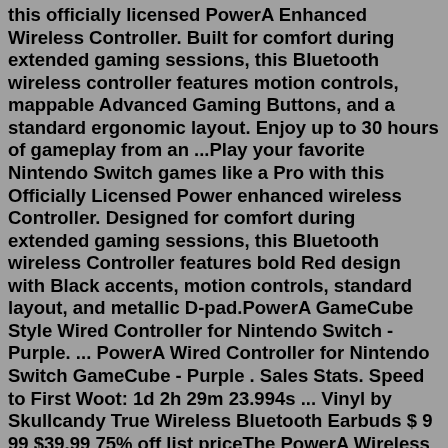this officially licensed PowerA Enhanced Wireless Controller. Built for comfort during extended gaming sessions, this Bluetooth wireless controller features motion controls, mappable Advanced Gaming Buttons, and a standard ergonomic layout. Enjoy up to 30 hours of gameplay from an ...Play your favorite Nintendo Switch games like a Pro with this Officially Licensed Power enhanced wireless Controller. Designed for comfort during extended gaming sessions, this Bluetooth wireless Controller features bold Red design with Black accents, motion controls, standard layout, and metallic D-pad.PowerA GameCube Style Wired Controller for Nintendo Switch - Purple. ... PowerA Wired Controller for Nintendo Switch GameCube - Purple . Sales Stats. Speed to First Woot: 1d 2h 29m 23.994s ... Vinyl by Skullcandy True Wireless Bluetooth Earbuds $ 9 99 $39.99 75% off list priceThe PowerA Wireless Controller may not have an NFC reader or rumble, but it still brings a lot to the table. You will get an even better D-pad, motion controls, and two